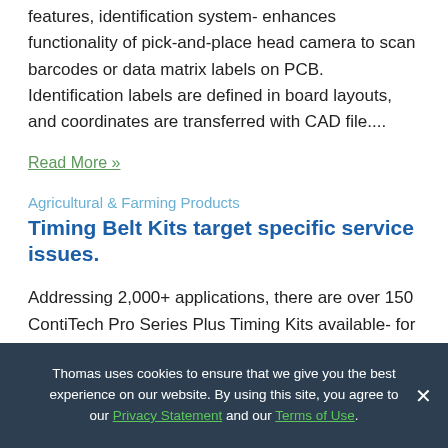features, identification system- enhances functionality of pick-and-place head camera to scan barcodes or data matrix labels on PCB. Identification labels are defined in board layouts, and coordinates are transferred with CAD file....
Read More »
Agricultural & Farming Products
Timing Belt Kits target specific service issues.
Addressing 2,000+ applications, there are over 150 ContiTech Pro Series Plus Timing Kits available- for solving service problems by providing technicians with all components- required to perform- proper timing belt and water pump service. Kits also include additional
Thomas uses cookies to ensure that we give you the best experience on our website. By using this site, you agree to our Privacy Statement and our Terms of Use.